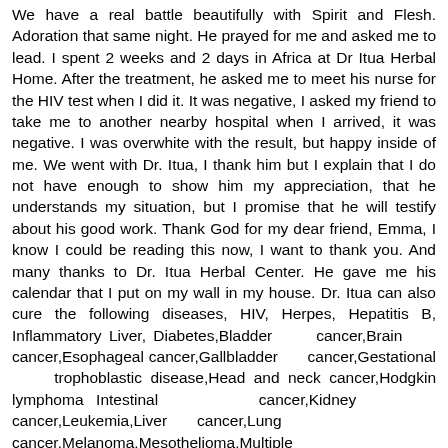We have a real battle beautifully with Spirit and Flesh. Adoration that same night. He prayed for me and asked me to lead. I spent 2 weeks and 2 days in Africa at Dr Itua Herbal Home. After the treatment, he asked me to meet his nurse for the HIV test when I did it. It was negative, I asked my friend to take me to another nearby hospital when I arrived, it was negative. I was overwhite with the result, but happy inside of me. We went with Dr. Itua, I thank him but I explain that I do not have enough to show him my appreciation, that he understands my situation, but I promise that he will testify about his good work. Thank God for my dear friend, Emma, I know I could be reading this now, I want to thank you. And many thanks to Dr. Itua Herbal Center. He gave me his calendar that I put on my wall in my house. Dr. Itua can also cure the following diseases, HIV, Herpes, Hepatitis B, Inflammatory Liver, Diabetes,Bladder cancer,Brain cancer,Esophageal cancer,Gallbladder cancer,Gestational trophoblastic disease,Head and neck cancer,Hodgkin lymphoma Intestinal cancer,Kidney cancer,Leukemia,Liver cancer,Lung cancer,Melanoma,Mesothelioma,Multiple myeloma,Neuroendocrine tumors Non-Hodgkin lymphoma,Oral cancer,Ovarian cancer,Sinus...